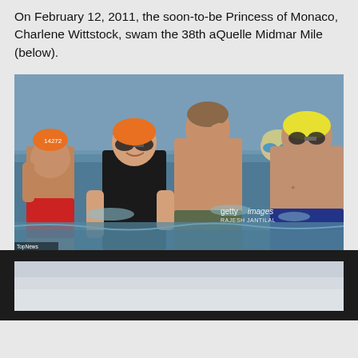On February 12, 2011, the soon-to-be Princess of Monaco, Charlene Wittstock, swam the 38th aQuelle Midmar Mile (below).
[Figure (photo): Charlene Wittstock and other swimmers emerging from the water at the 38th aQuelle Midmar Mile event. Getty Images / Rajesh Jantilal watermark visible in lower right. Several swimmers visible including a woman in a black swimsuit and orange swim cap with goggles, a shirtless man clapping, and another large man in swim trunks. Small watermark tag in bottom left corner.]
[Figure (photo): Partial view of a second photo at the bottom of the page, showing a light grey/white sky or water background, mostly cut off.]